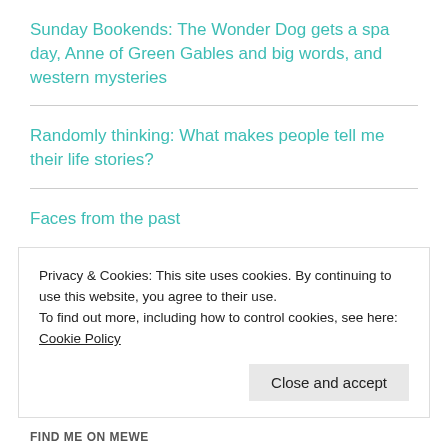Sunday Bookends: The Wonder Dog gets a spa day, Anne of Green Gables and big words, and western mysteries
Randomly thinking: What makes people tell me their life stories?
Faces from the past
What do you mean it's winter?
Privacy & Cookies: This site uses cookies. By continuing to use this website, you agree to their use.
To find out more, including how to control cookies, see here: Cookie Policy
Close and accept
FIND ME ON MEWE